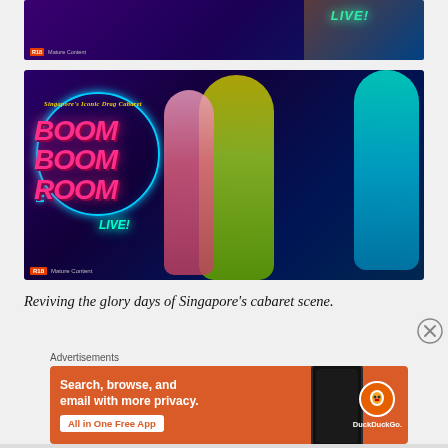[Figure (photo): Partial top banner for Boom Boom Room Live drag cabaret show — cropped at top, showing neon 'LIVE!' text and colorful performer imagery on dark purple background with R18 Mature Content badge]
[Figure (photo): Main promotional poster for Boom Boom Room Live — Singapore's Iconic Drag Cabaret. Features bold pink neon text 'BOOM BOOM ROOM LIVE!' on dark purple background with neon blue circle graphic and three performers in colorful drag costumes. R18 Mature Content badge in bottom left.]
Reviving the glory days of Singapore’s cabaret scene.
Advertisements
[Figure (photo): DuckDuckGo advertisement banner on orange background. Text: 'Search, browse, and email with more privacy. All in One Free App'. Shows phone mockup and DuckDuckGo logo.]